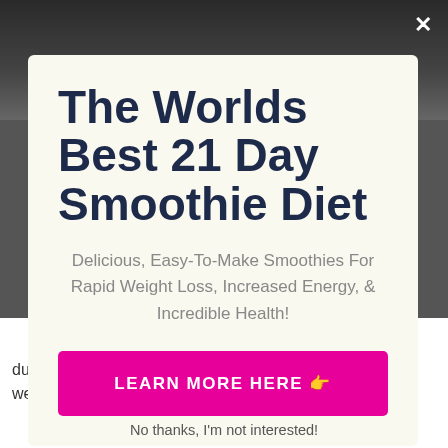[Figure (photo): Dark background photo visible at top and sides of modal popup]
The Worlds Best 21 Day Smoothie Diet
Delicious, Easy-To-Make Smoothies For Rapid Weight Loss, Increased Energy, & Incredible Health!
LEARN MORE HERE 👉
duplicating the 21 day cycle any time you wish to lose weight, but there is restricted research to
No thanks, I'm not interested!